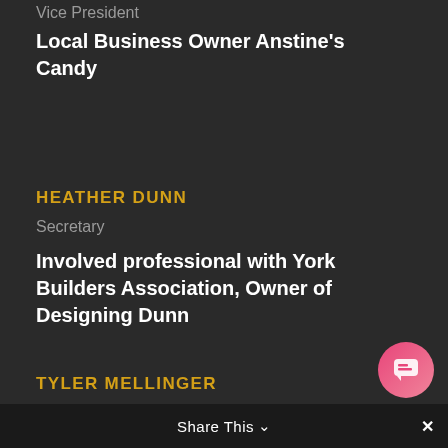Vice President
Local Business Owner Anstine's Candy
HEATHER DUNN
Secretary
Involved professional with York Builders Association, Owner of Designing Dunn
TYLER MELLINGER
Treasurer
Share This